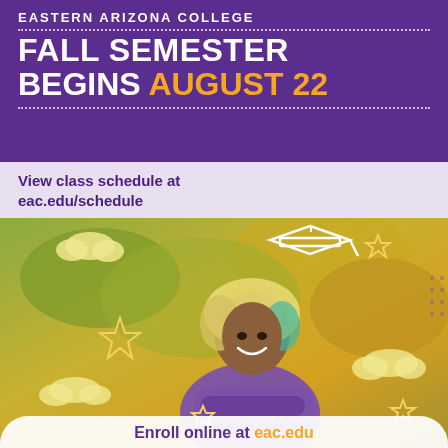EASTERN ARIZONA COLLEGE FALL SEMESTER BEGINS AUGUST 22
View class schedule at eac.edu/schedule
[Figure (photo): Smiling young woman with curly blonde/teal hair wearing a purple jacket, arms crossed, standing outdoors with autumn trees in background. Decorative illustrated icons overlay: graduation cap, stars, clouds.]
Enroll online at eac.edu